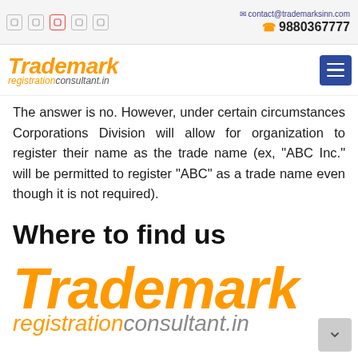contact@trademarksinn.com | 9880367777
[Figure (logo): Trademark registrationconsultant.in logo with hamburger menu icon]
The answer is no. However, under certain circumstances Corporations Division will allow for organization to register their name as the trade name (ex, "ABC Inc." will be permitted to register "ABC" as a trade name even though it is not required).
Where to find us
[Figure (logo): Large Trademark registrationconsultant.in logo]